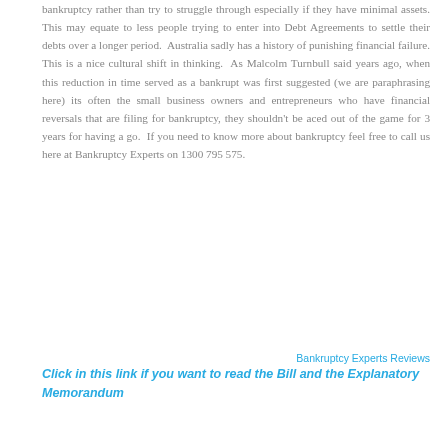bankruptcy rather than try to struggle through especially if they have minimal assets. This may equate to less people trying to enter into Debt Agreements to settle their debts over a longer period.  Australia sadly has a history of punishing financial failure. This is a nice cultural shift in thinking.  As Malcolm Turnbull said years ago, when this reduction in time served as a bankrupt was first suggested (we are paraphrasing here) its often the small business owners and entrepreneurs who have financial reversals that are filing for bankruptcy, they shouldn't be aced out of the game for 3 years for having a go.  If you need to know more about bankruptcy feel free to call us here at Bankruptcy Experts on 1300 795 575.
Bankruptcy Experts Reviews
Click in this link if you want to read the Bill and the Explanatory Memorandum